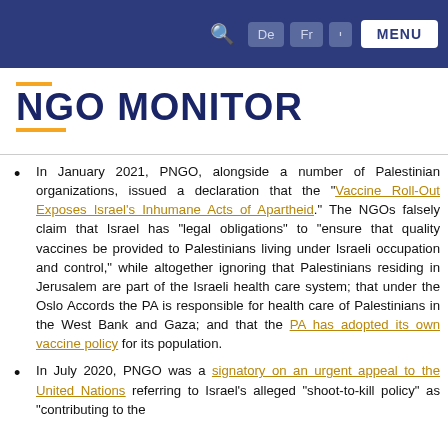NGO Monitor website navigation bar with search, De, Fr, Hebrew, and MENU buttons
NGO MONITOR
In January 2021, PNGO, alongside a number of Palestinian organizations, issued a declaration that the "Vaccine Roll-Out Exposes Israel's Inhumane Acts of Apartheid." The NGOs falsely claim that Israel has "legal obligations" to "ensure that quality vaccines be provided to Palestinians living under Israeli occupation and control," while altogether ignoring that Palestinians residing in Jerusalem are part of the Israeli health care system; that under the Oslo Accords the PA is responsible for health care of Palestinians in the West Bank and Gaza; and that the PA has adopted its own vaccine policy for its population.
In July 2020, PNGO was a signatory on an urgent appeal to the United Nations referring to Israel's alleged "shoot-to-kill policy" as "contributing to the